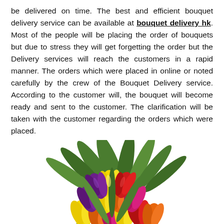be delivered on time. The best and efficient bouquet delivery service can be available at bouquet delivery hk. Most of the people will be placing the order of bouquets but due to stress they will get forgetting the order but the Delivery services will reach the customers in a rapid manner. The orders which were placed in online or noted carefully by the crew of the Bouquet Delivery service. According to the customer will, the bouquet will become ready and sent to the customer. The clarification will be taken with the customer regarding the orders which were placed.
[Figure (photo): A colorful bouquet of mixed tulips in yellow, red, orange, pink/magenta, and purple colors with green leaves, photographed on a white background.]